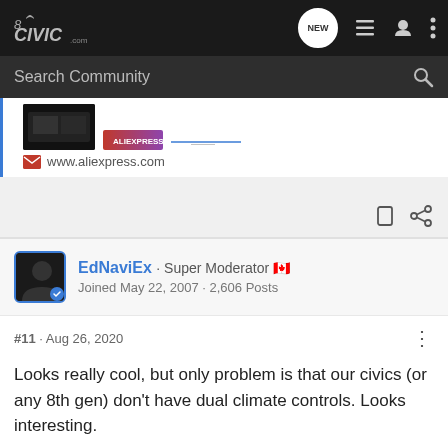8thCivic.com navigation bar with NEW, list, user, and menu icons
Search Community
[Figure (screenshot): Link preview showing AliExpress product images and URL www.aliexpress.com]
EdNaviEx · Super Moderator 🇨🇦
Joined May 22, 2007 · 2,606 Posts
#11 · Aug 26, 2020
Looks really cool, but only problem is that our civics (or any 8th gen) don't have dual climate controls. Looks interesting.